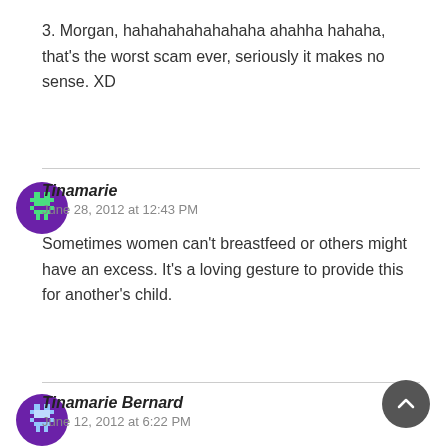3. Morgan, hahahahahahahaha ahahha hahaha, that's the worst scam ever, seriously it makes no sense. XD
Tinamarie
June 28, 2012 at 12:43 PM

Sometimes women can't breastfeed or others might have an excess. It's a loving gesture to provide this for another's child.
Tinamarie Bernard
June 12, 2012 at 6:22 PM

http://www.greenprophet.com/2012/03/bre...
milk-bank-eco-friendly/